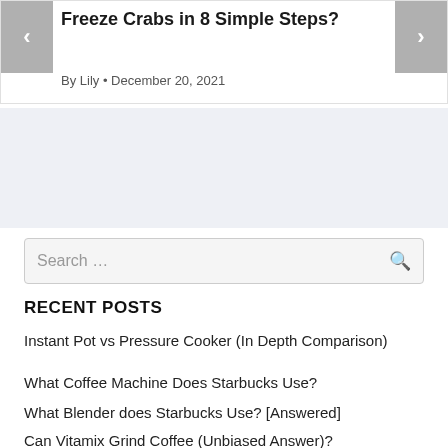Freeze Crabs in 8 Simple Steps?
By Lily • December 20, 2021
Search …
RECENT POSTS
Instant Pot vs Pressure Cooker (In Depth Comparison)
What Coffee Machine Does Starbucks Use?
What Blender does Starbucks Use? [Answered]
Can Vitamix Grind Coffee (Unbiased Answer)?